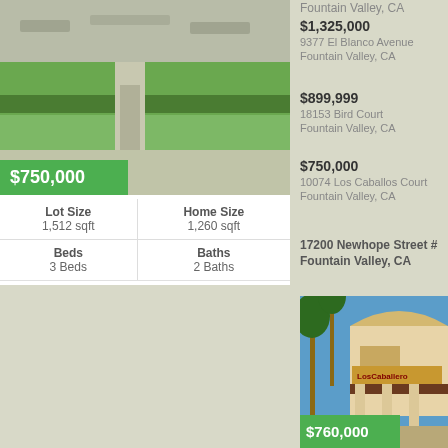[Figure (photo): Aerial/front view of a property with green lawn, gray pavement pathway in Fountain Valley CA, with a $750,000 price badge overlay]
| Lot Size | Home Size |
| --- | --- |
| 1,512 sqft | 1,260 sqft |
| Beds | Baths |
| 3 Beds | 2 Baths |
$1,325,000
9377 El Blanco Avenue
Fountain Valley, CA
$899,999
18153 Bird Court
Fountain Valley, CA
$750,000
10074 Los Caballos Court
Fountain Valley, CA
17200 Newhope Street #
Fountain Valley, CA
[Figure (photo): Photo of Los Caballeros complex entrance with palm trees and Spanish-style building, with a $760,000 price badge overlay]